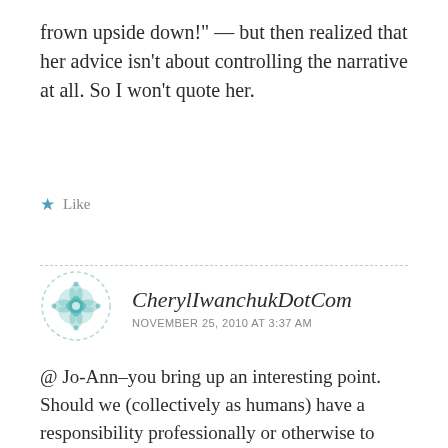frown upside down!" — but then realized that her advice isn't about controlling the narrative at all. So I won't quote her.
★ Like
CherylIwanchukDotCom
NOVEMBER 25, 2010 AT 3:37 AM
@ Jo-Ann–you bring up an interesting point. Should we (collectively as humans) have a responsibility professionally or otherwise to meet the characteristics of what is currently considered good leadership? Not only because it would help to actually further a personal career,